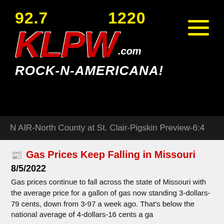[Figure (logo): KLPW radio station logo with frequencies 92.7 and 1220, red italic KLPW lettering with .com, tagline ROCK-N-AMERICANA! on black background, and yellow hamburger menu icon]
N AIR-North County at St. Clair-Pigskin Preview-6:4
Gas Prices Keep Falling in Missouri
8/5/2022
Gas prices continue to fall across the state of Missouri with the average price for a gallon of gas now standing 3-dollars-79 cents, down from 3-97 a week ago. That's below the national average of 4-dollars-16 cents a ga
...More